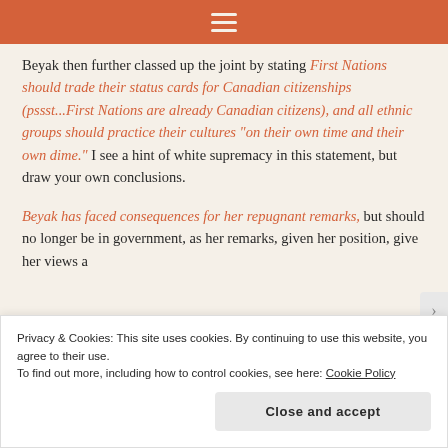≡
Beyak then further classed up the joint by stating First Nations should trade their status cards for Canadian citizenships (pssst...First Nations are already Canadian citizens), and all ethnic groups should practice their cultures "on their own time and their own dime." I see a hint of white supremacy in this statement, but draw your own conclusions.
Beyak has faced consequences for her repugnant remarks, but should no longer be in government, as her remarks, given her position, give her views a
Privacy & Cookies: This site uses cookies. By continuing to use this website, you agree to their use.
To find out more, including how to control cookies, see here: Cookie Policy
Close and accept